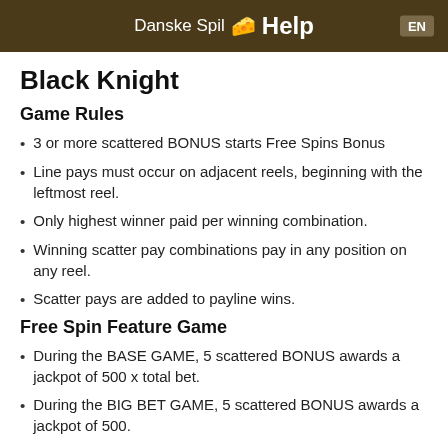Danske Spil Help EN
Black Knight
Game Rules
3 or more scattered BONUS starts Free Spins Bonus
Line pays must occur on adjacent reels, beginning with the leftmost reel.
Only highest winner paid per winning combination.
Winning scatter pay combinations pay in any position on any reel.
Scatter pays are added to payline wins.
Free Spin Feature Game
During the BASE GAME, 5 scattered BONUS awards a jackpot of 500 x total bet.
During the BIG BET GAME, 5 scattered BONUS awards a jackpot of 500.